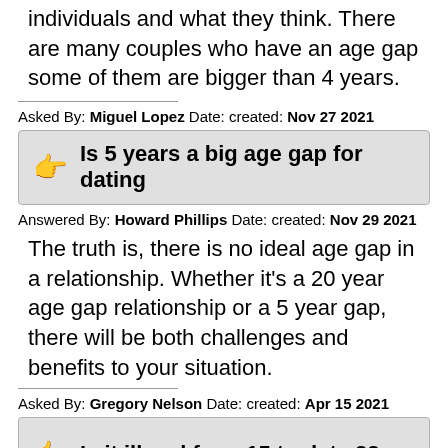individuals and what they think. There are many couples who have an age gap some of them are bigger than 4 years.
Asked By: Miguel Lopez Date: created: Nov 27 2021
Is 5 years a big age gap for dating
Answered By: Howard Phillips Date: created: Nov 29 2021
The truth is, there is no ideal age gap in a relationship. Whether it’s a 20 year age gap relationship or a 5 year gap, there will be both challenges and benefits to your situation.
Asked By: Gregory Nelson Date: created: Apr 15 2021
Is it illegal for a 15 to date 22